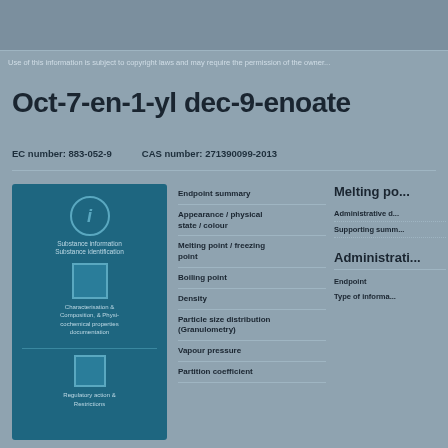Use of this information is subject to copyright laws and may require the permission...
Oct-7-en-1-yl dec-9-enoate
EC number: 883-052-9   CAS number: 271390099-2013
[Figure (infographic): Blue panel with chemical/regulatory icons and text blocks showing substance identification information]
Endpoint summary
Appearance / physical state / colour
Melting point / freezing point
Boiling point
Density
Particle size distribution (Granulometry)
Vapour pressure
Partition coefficient
Melting po...
Administrative d...
Supporting summ...
Administrati...
Endpoint
Type of informa...